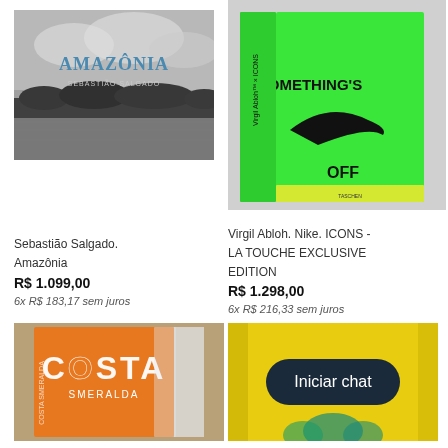[Figure (photo): Book cover: Amazônia by Sebastião Salgado, black and white landscape photography]
Sebastião Salgado. Amazônia
R$ 1.099,00
6x R$ 183,17 sem juros
[Figure (photo): Book: Virgil Abloh. Nike. ICONS - LA TOUCHE EXCLUSIVE EDITION, neon green box]
Virgil Abloh. Nike. ICONS - LA TOUCHE EXCLUSIVE EDITION
R$ 1.298,00
6x R$ 216,33 sem juros
[Figure (photo): Book: COSTA SMERALDA, orange cover]
[Figure (photo): Chat button overlay on yellow book cover with text: Iniciar chat]